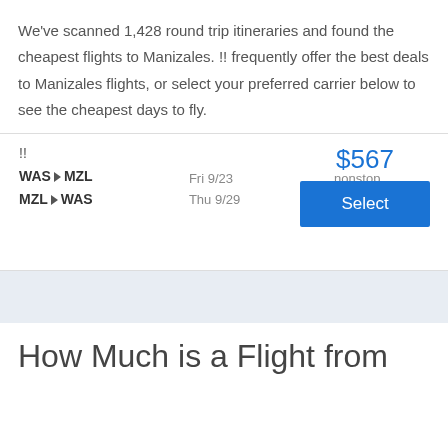We've scanned 1,428 round trip itineraries and found the cheapest flights to Manizales. !! frequently offer the best deals to Manizales flights, or select your preferred carrier below to see the cheapest days to fly.
| Route | Date | Stops | Price/Action |
| --- | --- | --- | --- |
| !! |  |  | $567 / Select |
| WAS ▶ MZL | Fri 9/23 | nonstop |  |
| MZL ▶ WAS | Thu 9/29 | nonstop |  |
How Much is a Flight from